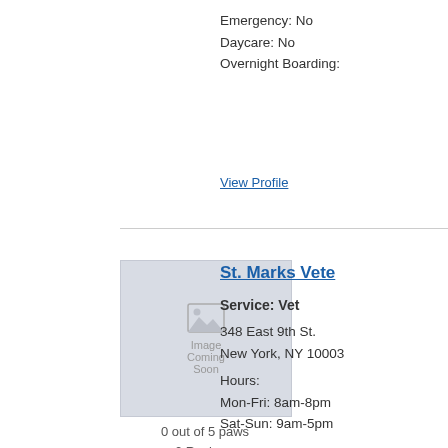Emergency: No
Daycare: No
Overnight Boarding:
View Profile
[Figure (other): Image Coming Soon placeholder thumbnail for St. Marks Veterinary listing]
0 out of 5 paws
0 Reviews
0 Sniffs
St. Marks Vete...
Service: Vet
348 East 9th St.
New York, NY 10003
Hours:
Mon-Fri: 8am-8pm
Sat-Sun: 9am-5pm
Emergency: No
Daycare: No
Overnight Boarding:
View Profile